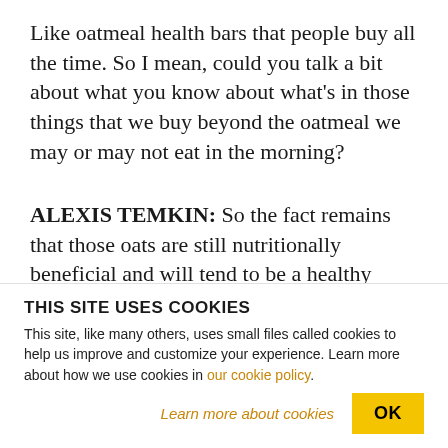Like oatmeal health bars that people buy all the time. So I mean, could you talk a bit about what you know about what's in those things that we buy beyond the oatmeal we may or may not eat in the morning?
ALEXIS TEMKIN: So the fact remains that those oats are still nutritionally beneficial and will tend to be a healthy food. They just really shouldn't come with an extra sort of serving of herbicide, or glyphosate. If it's something that somebody's concerned about, we really want them to reach out to
THIS SITE USES COOKIES
This site, like many others, uses small files called cookies to help us improve and customize your experience. Learn more about how we use cookies in our cookie policy.
Learn more about cookies